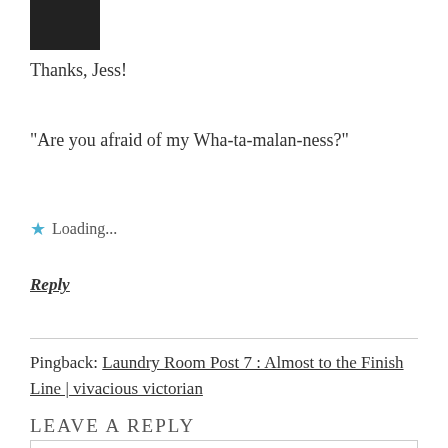[Figure (photo): Small avatar photo of a person, dark/black and white image]
Thanks, Jess!
“Are you afraid of my Wha-ta-malan-ness?”
Loading...
Reply
Pingback: Laundry Room Post 7 : Almost to the Finish Line | vivacious victorian
LEAVE A REPLY